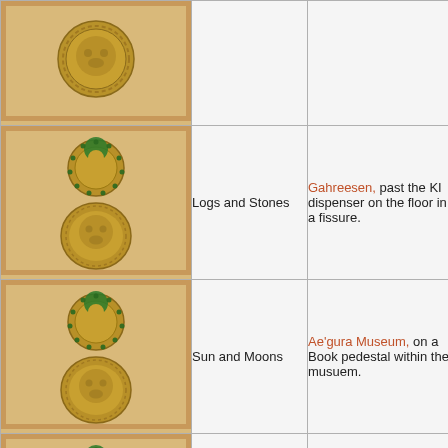| Image | Name | Location |
| --- | --- | --- |
| [book image] |  |  |
| [book image - Logs and Stones] | Logs and Stones | Gahreesen, past the KI dispenser on the floor in a fissure. |
| [book image - Sun and Moons] | Sun and Moons | Ae'gura Museum, on a Book pedestal within the musuem. |
| [book image - Pine Trees] | Pine Trees | Kadish Tolesa, on a ledge that overlooks the forest vista ju... |